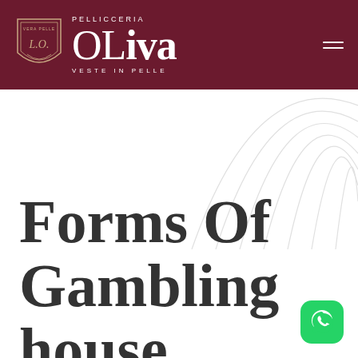PELLICCERIA OLiva VESTE IN PELLE
[Figure (logo): Pellicceria Oliva logo with shield emblem on dark red/maroon header bar]
[Figure (illustration): Decorative concentric arc lines in light gray on white background]
Forms Of Gambling house
[Figure (logo): WhatsApp icon — green rounded square with white phone/chat icon]